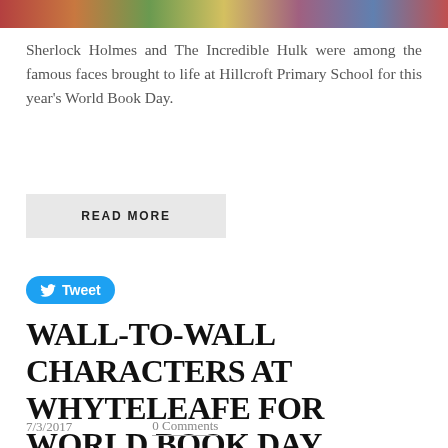[Figure (photo): Cropped top portion of a photo showing colorfully dressed students in costume for World Book Day]
Sherlock Holmes and The Incredible Hulk were among the famous faces brought to life at Hillcroft Primary School for this year's World Book Day.
READ MORE
Tweet
WALL-TO-WALL CHARACTERS AT WHYTELEAFE FOR WORLD BOOK DAY
7/3/2017    0 Comments